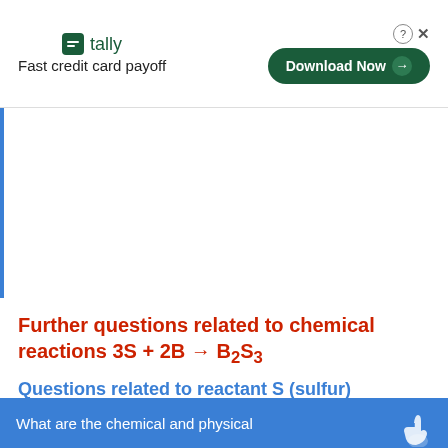[Figure (other): Tally app advertisement banner: logo, 'Fast credit card payoff' tagline, and 'Download Now' button]
Further questions related to chemical reactions 3S + 2B → B₂S₃
Questions related to reactant S (sulfur)
What are the chemical and physical